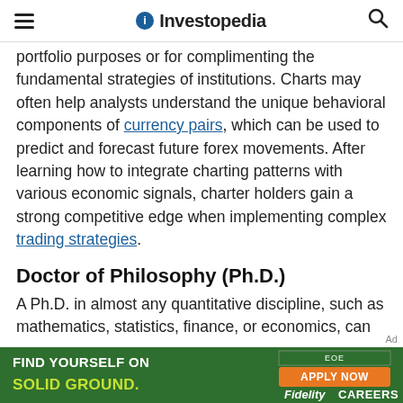Investopedia
portfolio purposes or for complimenting the fundamental strategies of institutions. Charts may often help analysts understand the unique behavioral components of currency pairs, which can be used to predict and forecast future forex movements. After learning how to integrate charting patterns with various economic signals, charter holders gain a strong competitive edge when implementing complex trading strategies.
Doctor of Philosophy (Ph.D.)
A Ph.D. in almost any quantitative discipline, such as mathematics, statistics, finance, or economics, can
[Figure (other): Fidelity Careers advertisement banner: green background with text 'FIND YOURSELF ON SOLID GROUND.' and orange 'APPLY NOW' button and 'Fidelity CAREERS' branding with EOE tag.]